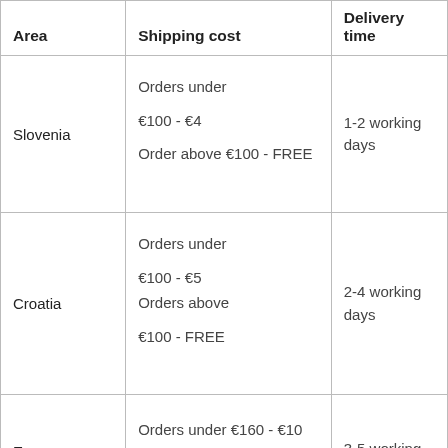| Area | Shipping cost | Delivery time |
| --- | --- | --- |
| Slovenia | Orders under
€100 - €4
Order above €100 - FREE | 1-2 working days |
| Croatia | Orders under
€100 - €5
Orders above
€100 - FREE | 2-4 working days |
| European ... | Orders under €160 - €10
Orders over €160 - FREE | 3-5 working ... |